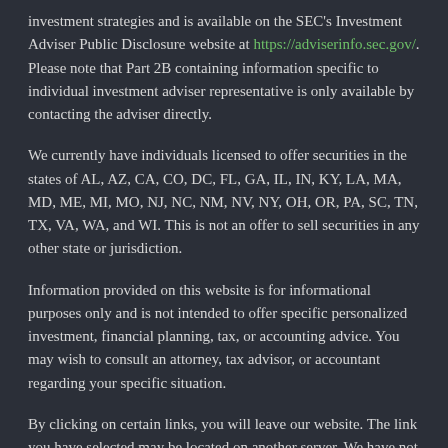investment strategies and is available on the SEC's Investment Adviser Public Disclosure website at https://adviserinfo.sec.gov/. Please note that Part 2B containing information specific to individual investment adviser representative is only available by contacting the adviser directly.
We currently have individuals licensed to offer securities in the states of AL, AZ, CA, CO, DC, FL, GA, IL, IN, KY, LA, MA, MD, ME, MI, MO, NJ, NC, NM, NV, NY, OH, OR, PA, SC, TN, TX, VA, WA, and WI. This is not an offer to sell securities in any other state or jurisdiction.
Information provided on this website is for informational purposes only and is not intended to offer specific personalized investment, financial planning, tax, or accounting advice. You may wish to consult an attorney, tax advisor, or accountant regarding your specific situation.
By clicking on certain links, you will leave our website. The link you have selected may be located on another server. We have not independently verified the information available through outside links. The links are provided to you as a matter of interest.